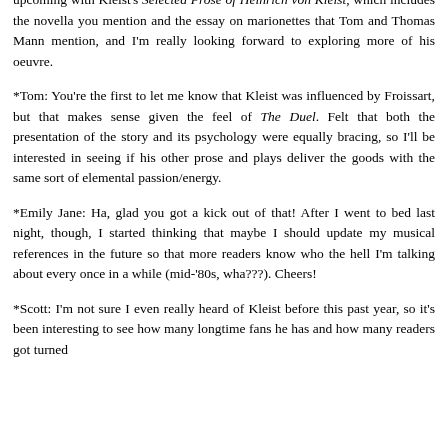upcoming with Kleist's Selected Prose of Heinrich von Kleist, which includes the novella you mention and the essay on marionettes that Tom and Thomas Mann mention, and I'm really looking forward to exploring more of his oeuvre.
*Tom: You're the first to let me know that Kleist was influenced by Froissart, but that makes sense given the feel of The Duel. Felt that both the presentation of the story and its psychology were equally bracing, so I'll be interested in seeing if his other prose and plays deliver the goods with the same sort of elemental passion/energy.
*Emily Jane: Ha, glad you got a kick out of that! After I went to bed last night, though, I started thinking that maybe I should update my musical references in the future so that more readers know who the hell I'm talking about every once in a while (mid-'80s, wha???). Cheers!
*Scott: I'm not sure I even really heard of Kleist before this past year, so it's been interesting to see how many longtime fans he has and how many readers got turned